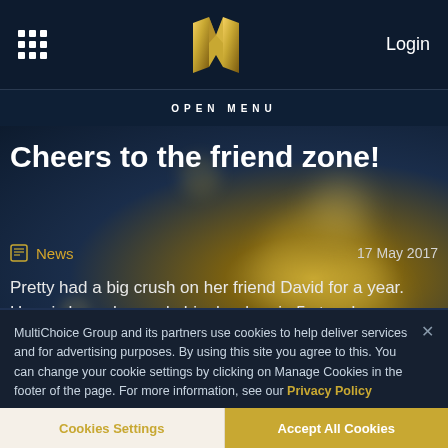Login
OPEN MENU
Cheers to the friend zone!
News   17 May 2017
Pretty had a big crush on her friend David for a year. Here is how she made him her bae in 5 steps!
MultiChoice Group and its partners use cookies to help deliver services and for advertising purposes. By using this site you agree to this. You can change your cookie settings by clicking on Manage Cookies in the footer of the page. For more information, see our Privacy Policy
Cookies Settings
Accept All Cookies